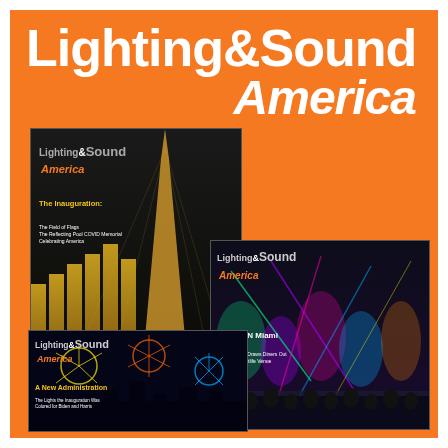[Figure (illustration): Promotional advertisement for Lighting & Sound America magazine showing the publication logo in white text on an orange background with three overlapping magazine cover images below. The covers show: (1) a top cover featuring The Inauguration with Washington Monument imagery, (2) a middle cover featuring E11EVEN Miami nightclub, and (3) a bottom cover featuring A New Administration with fireworks imagery.]